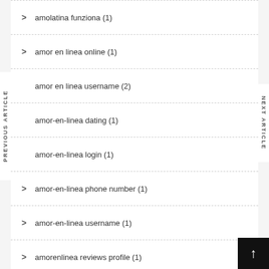amolatina funziona (1)
amor en linea online (1)
amor en linea username (2)
amor-en-linea dating (1)
amor-en-linea login (1)
amor-en-linea phone number (1)
amor-en-linea username (1)
amorenlinea reviews profile (1)